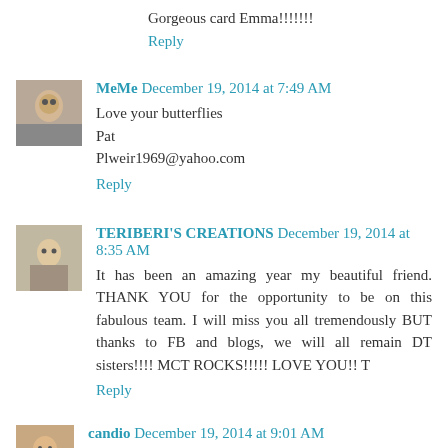Gorgeous card Emma!!!!!!!
Reply
MeMe December 19, 2014 at 7:49 AM
Love your butterflies
Pat
Plweir1969@yahoo.com
Reply
TERIBERI'S CREATIONS December 19, 2014 at 8:35 AM
It has been an amazing year my beautiful friend. THANK YOU for the opportunity to be on this fabulous team. I will miss you all tremendously BUT thanks to FB and blogs, we will all remain DT sisters!!!! MCT ROCKS!!!!! LOVE YOU!! T
Reply
candio December 19, 2014 at 9:01 AM